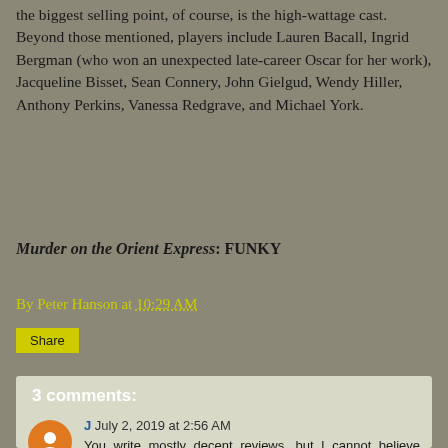the biggest selling point, of course, is the high-wattage cast. Beyond those mentioned, players include Lauren Bacall, Ingrid Bergman (who won an unexpected late-career Oscar for her work), Jacqueline Bisset, Sean Connery, John Gielgud, Wendy Hiller, Anthony Perkins, Vanessa Redgrave, and Michael York.
Murder on the Orient Express: FUNKY
By Peter Hanson at 10:29 AM
Share
3 comments:
J July 2, 2019 at 2:56 AM
You write mostly decent reviews, but I cannot believe anyone could review this movie without mentioning the elegant and delightful Richard Rodney Bennett score, the real secret sauce of this movie.
And what's wrong with luxuriating in a glamorous